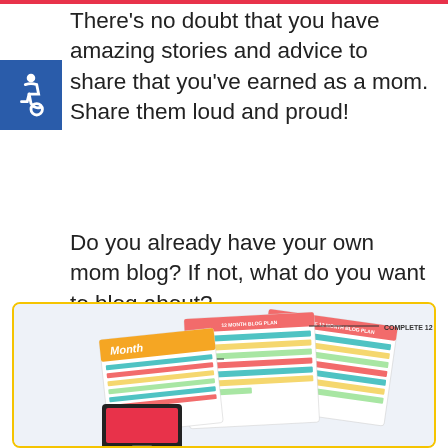There's no doubt that you have amazing stories and advice to share that you've earned as a mom. Share them loud and proud!
Do you already have your own mom blog? If not, what do you want to blog about?
[Figure (illustration): Promotional box with yellow border on light blue background showing blog planning worksheets including 'Complete 12 Month Blog Plan' and 'Goals Tracker' documents with colorful spreadsheet-style layouts]